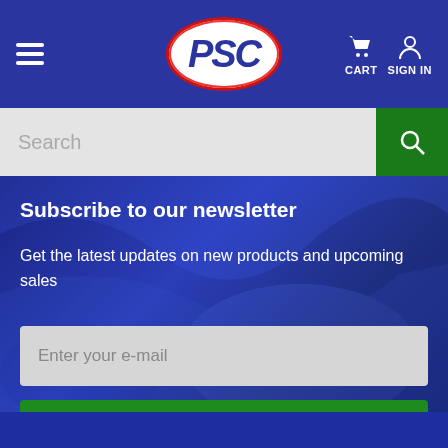PSC - Navigation bar with hamburger menu, PSC logo, Cart and Sign In icons
[Figure (screenshot): PSC logo in white oval with red border]
Search
Subscribe to our newsletter
Get the latest updates on new products and upcoming sales
Enter your e-mail
Subscribe